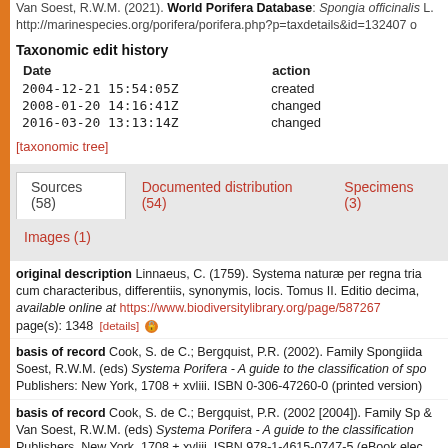Van Soest, R.W.M. (2021). World Porifera Database: Spongia officinalis L. http://marinespecies.org/porifera/porifera.php?p=taxdetails&id=132407 o
Taxonomic edit history
| Date | action |
| --- | --- |
| 2004-12-21 15:54:05Z | created |
| 2008-01-20 14:16:41Z | changed |
| 2016-03-20 13:13:14Z | changed |
[taxonomic tree]
Sources (58)  Documented distribution (54)  Specimens (3)  Images (1)
original description Linnaeus, C. (1759). Systema naturæ per regna tria cum characteribus, differentiis, synonymis, locis. Tomus II. Editio decima, available online at https://www.biodiversitylibrary.org/page/587267 page(s): 1348 [details]
basis of record Cook, S. de C.; Bergquist, P.R. (2002). Family Spongiidae. Soest, R.W.M. (eds) Systema Porifera - A guide to the classification of spo Publishers: New York, 1708 + xvliii. ISBN 0-306-47260-0 (printed version)
basis of record Cook, S. de C.; Bergquist, P.R. (2002 [2004]). Family Sp & Van Soest, R.W.M. (eds) Systema Porifera - A guide to the classification Publishers, New York, 1708 + xvliii. ISBN 978-1-4615-0747-5 (eBook elec
additional source Pansini, M.; Musso, B. (1991). Sponges from trawl-exp distribution and ecology. P.S.Z.N.I.: Marine Ecology 12 (4): 317-329